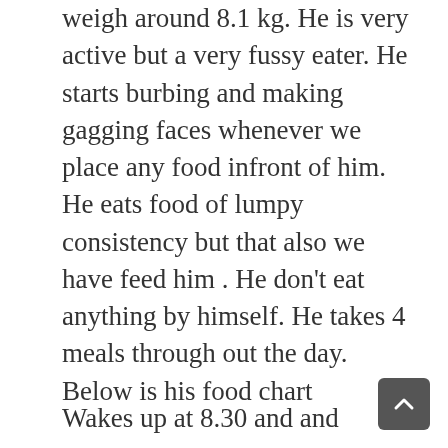weigh around 8.1 kg. He is very active but a very fussy eater. He starts burbing and making gagging faces whenever we place any food infront of him. He eats food of lumpy consistency but that also we have feed him . He don't eat anything by himself. He takes 4 meals through out the day. Below is his food chart
Wakes up at 8.30 and and